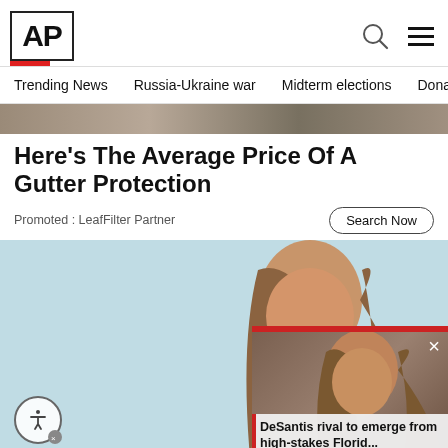[Figure (logo): AP (Associated Press) logo in black bold text inside a box with a red underline]
Trending News   Russia-Ukraine war   Midterm elections   Dona
[Figure (photo): Partial hero image strip showing gutter/home related imagery]
Here's The Average Price Of A Gutter Protection
Promoted : LeafFilter Partner
Search Now
[Figure (photo): Woman with long brown hair smiling, holding a credit card, on light blue background. A video overlay in the bottom right shows another woman with text 'DeSantis rival to emerge from high-stakes Florid...' with a red left border and a close button.]